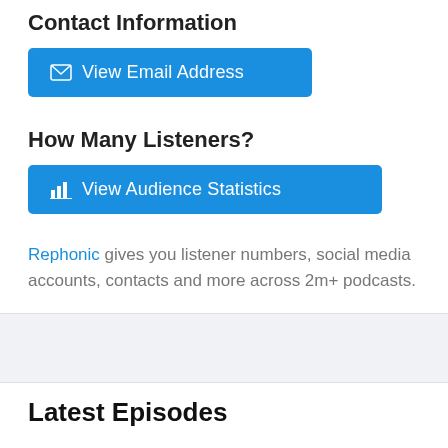Contact Information
View Email Address
How Many Listeners?
View Audience Statistics
Rephonic gives you listener numbers, social media accounts, contacts and more across 2m+ podcasts.
Latest Episodes
CBI Mag 2.10 | Corsa alla Spada e Palio di Camerino: un tuffo nel passato
We have reached the tenth and final episode of the Coffee Break